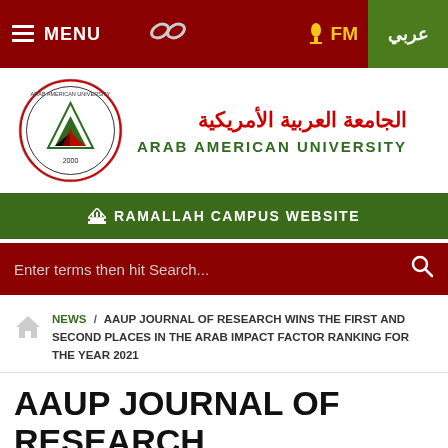≡ MENU   🔗   🎙 FM   عربي
[Figure (logo): Arab American University circular seal/logo with Arabic text and green/red/black design]
الجامعة العربية الأمريكية
ARAB AMERICAN UNIVERSITY
🏛 RAMALLAH CAMPUS WEBSITE
Enter terms then hit Search...
NEWS / AAUP JOURNAL OF RESEARCH WINS THE FIRST AND SECOND PLACES IN THE ARAB IMPACT FACTOR RANKING FOR THE YEAR 2021
AAUP JOURNAL OF RESEARCH